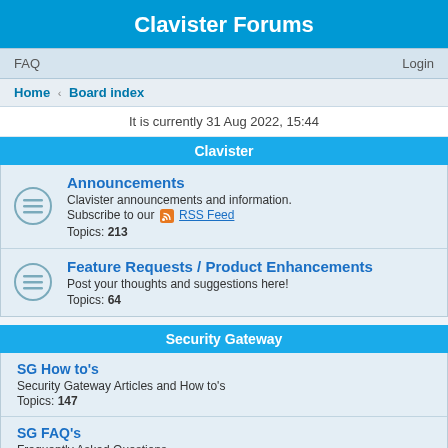Clavister Forums
FAQ    Login
Home › Board index
It is currently 31 Aug 2022, 15:44
Clavister
Announcements
Clavister announcements and information.
Subscribe to our RSS Feed
Topics: 213
Feature Requests / Product Enhancements
Post your thoughts and suggestions here!
Topics: 64
Security Gateway
SG How to's
Security Gateway Articles and How to's
Topics: 147
SG FAQ's
Frequently Asked Questions
Topics: 86
SG Discussions